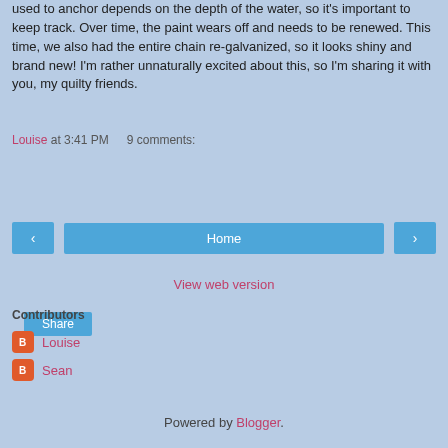used to anchor depends on the depth of the water, so it's important to keep track. Over time, the paint wears off and needs to be renewed. This time, we also had the entire chain re-galvanized, so it looks shiny and brand new! I'm rather unnaturally excited about this, so I'm sharing it with you, my quilty friends.
Louise at 3:41 PM   9 comments:
Share
‹
Home
›
View web version
Contributors
Louise
Sean
Powered by Blogger.